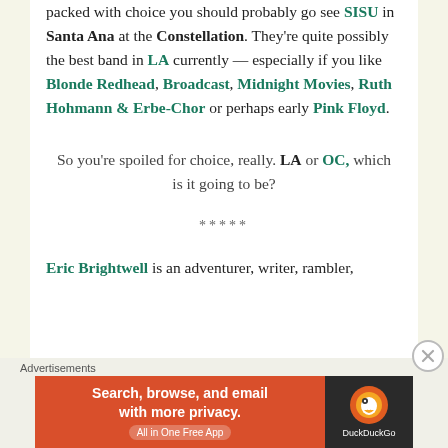packed with choice you should probably go see SISU in Santa Ana at the Constellation. They're quite possibly the best band in LA currently — especially if you like Blonde Redhead, Broadcast, Midnight Movies, Ruth Hohmann & Erbe-Chor or perhaps early Pink Floyd.
So you're spoiled for choice, really. LA or OC, which is it going to be?
*****
Eric Brightwell is an adventurer, writer, rambler,
[Figure (other): DuckDuckGo advertisement banner: 'Search, browse, and email with more privacy. All in One Free App' with DuckDuckGo logo on dark background.]